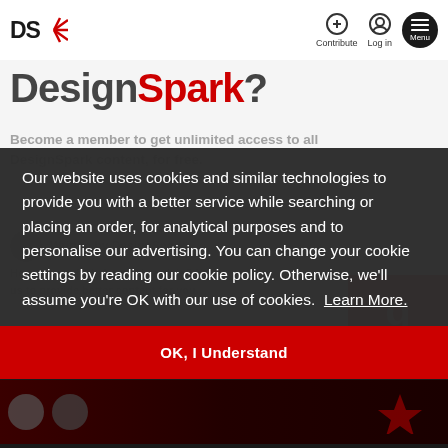DS★  Contribute  Log in  Menu
DesignSpark?
Become a member to get unlimited access to all DesignSpark content, for free.
Our website uses cookies and similar technologies to provide you with a better service while searching or placing an order, for analytical purposes and to personalise our advertising. You can change your cookie settings by reading our cookie policy. Otherwise, we'll assume you're OK with our use of cookies. Learn More.
OK, I Understand